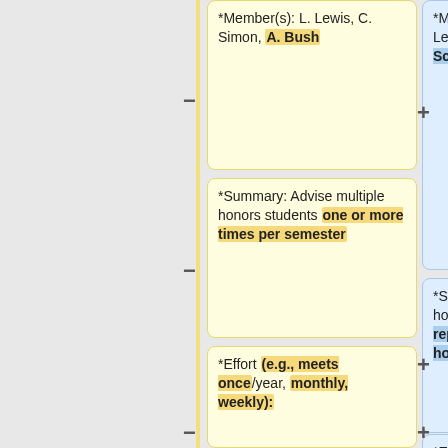*Member(s): L. Lewis, C. Simon, A. Bush
*Member(s): R. Bagchi, L. Lewis, C. Garcia-Robledo, E. Schultz, C. Simon, Y. Yuan
*Summary: Advise multiple honors students one or more times per semester
*Summary: Advise multiple honors students and represent EEB for Biology honors functions
*Effort (e.g., meets once/year, monthly, weekly):
*Effort: Meet with about 10 advisees each semester, 10 hours meeting time over academic year, serve as judge for honors